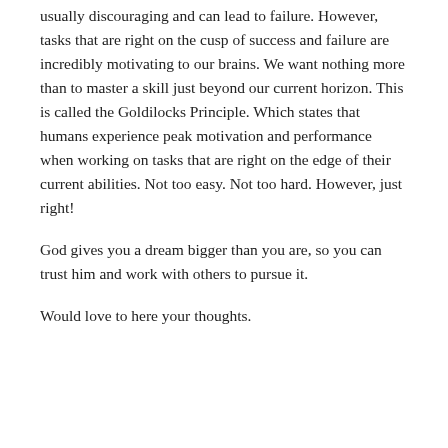usually discouraging and can lead to failure. However, tasks that are right on the cusp of success and failure are incredibly motivating to our brains. We want nothing more than to master a skill just beyond our current horizon. This is called the Goldilocks Principle. Which states that humans experience peak motivation and performance when working on tasks that are right on the edge of their current abilities. Not too easy. Not too hard. However, just right!
God gives you a dream bigger than you are, so you can trust him and work with others to pursue it.
Would love to here your thoughts.